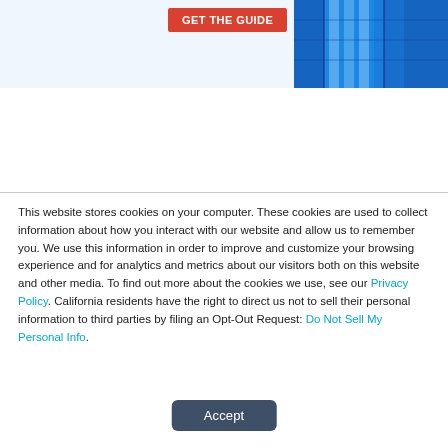[Figure (screenshot): Partial banner with red GET THE GUIDE button on light blue background and blue building photograph on the right]
This website stores cookies on your computer. These cookies are used to collect information about how you interact with our website and allow us to remember you. We use this information in order to improve and customize your browsing experience and for analytics and metrics about our visitors both on this website and other media. To find out more about the cookies we use, see our Privacy Policy. California residents have the right to direct us not to sell their personal information to third parties by filing an Opt-Out Request: Do Not Sell My Personal Info.
Accept